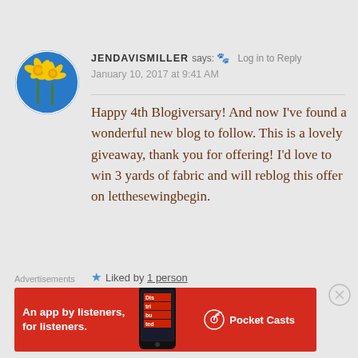[Figure (photo): Circular avatar photo of yellow daffodil flowers against a blue sky background]
JENDAVISMILLER says: Log in to Reply
January 10, 2017 at 9:41 AM
Happy 4th Blogiversary! And now I've found a wonderful new blog to follow. This is a lovely giveaway, thank you for offering! I'd love to win 3 yards of fabric and will reblog this offer on letthesewingbegin.
★ Liked by 1 person
Advertisements
[Figure (screenshot): Red advertisement banner for Pocket Casts: An app by listeners, for listeners. Shows a phone with Distributed book cover and Pocket Casts logo.]